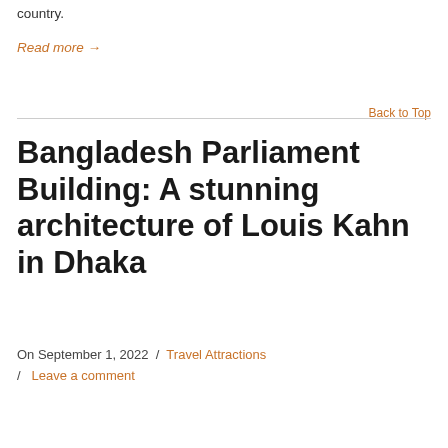country.
Read more →
Back to Top
Bangladesh Parliament Building: A stunning architecture of Louis Kahn in Dhaka
On September 1, 2022 / Travel Attractions / Leave a comment